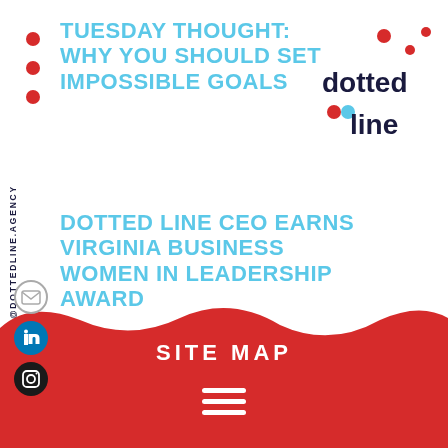[Figure (logo): Dotted Line agency logo with colored dots and navy text]
TUESDAY THOUGHT: WHY YOU SHOULD SET IMPOSSIBLE GOALS
DOTTED LINE CEO EARNS VIRGINIA BUSINESS WOMEN IN LEADERSHIP AWARD
WHAT DOES HAPPINESS IN THE WORKPLACE MEAN FOR YOUR AGENCY?
HELLO@DOTTEDLINE.AGENCY
SITE MAP